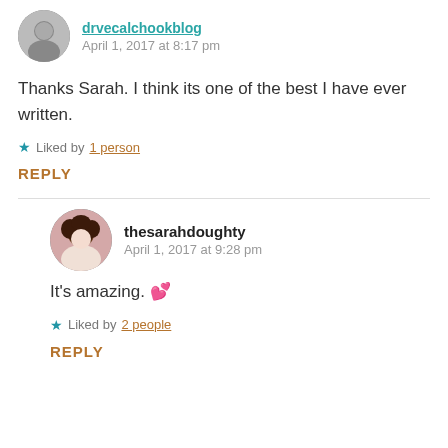drvecalchookblog – April 1, 2017 at 8:17 pm
Thanks Sarah. I think its one of the best I have ever written.
Liked by 1 person
REPLY
thesarahdoughty – April 1, 2017 at 9:28 pm
It's amazing. 💕
Liked by 2 people
REPLY